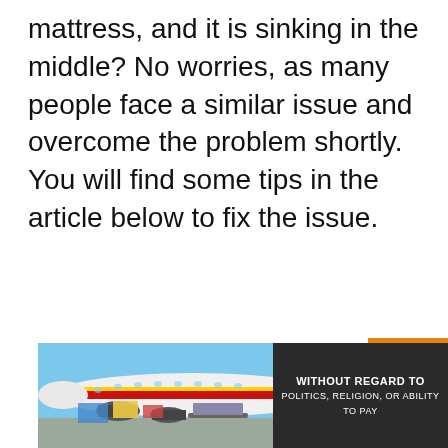mattress, and it is sinking in the middle? No worries, as many people face a similar issue and overcome the problem shortly. You will find some tips in the article below to fix the issue.
[Figure (photo): Photo of cargo being loaded onto a large commercial aircraft with colorful livery (yellow, red, blue). An advertisement overlay on the right reads 'WITHOUT REGARD TO POLITICS, RELIGION, OR ABILITY TO PAY'. An orange button with an upward arrow is visible at top right.]